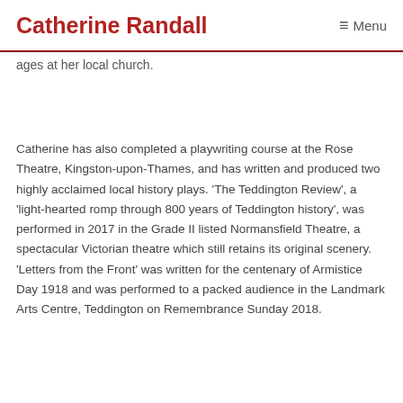Catherine Randall — Menu
ages at her local church.
Catherine has also completed a playwriting course at the Rose Theatre, Kingston-upon-Thames, and has written and produced two highly acclaimed local history plays. 'The Teddington Review', a 'light-hearted romp through 800 years of Teddington history', was performed in 2017 in the Grade II listed Normansfield Theatre, a spectacular Victorian theatre which still retains its original scenery. 'Letters from the Front' was written for the centenary of Armistice Day 1918 and was performed to a packed audience in the Landmark Arts Centre, Teddington on Remembrance Sunday 2018.